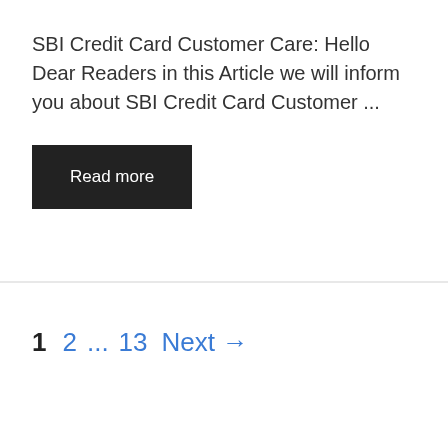SBI Credit Card Customer Care: Hello Dear Readers in this Article we will inform you about SBI Credit Card Customer ...
Read more
1  2  ...  13  Next →